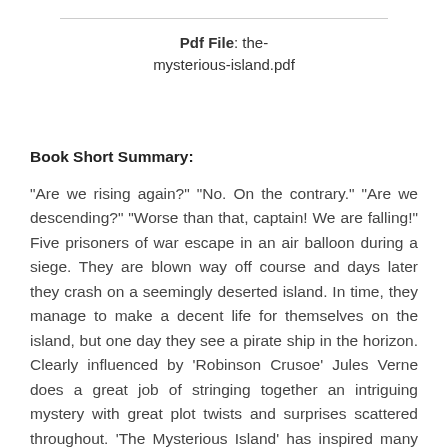Pdf File: the-mysterious-island.pdf
Book Short Summary:
"Are we rising again?" "No. On the contrary." "Are we descending?" "Worse than that, captain! We are falling!" Five prisoners of war escape in an air balloon during a siege. They are blown way off course and days later they crash on a seemingly deserted island. In time, they manage to make a decent life for themselves on the island, but one day they see a pirate ship in the horizon. Clearly influenced by 'Robinson Crusoe' Jules Verne does a great job of stringing together an intriguing mystery with great plot twists and surprises scattered throughout. 'The Mysterious Island' has inspired many movie adaptations, lately with